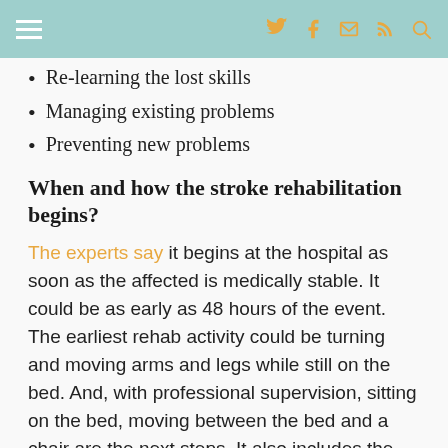☰ [twitter] [facebook] [email] [rss] [search]
Re-learning the lost skills
Managing existing problems
Preventing new problems
When and how the stroke rehabilitation begins?
The experts say it begins at the hospital as soon as the affected is medically stable. It could be as early as 48 hours of the event. The earliest rehab activity could be turning and moving arms and legs while still on the bed. And, with professional supervision, sitting on the bed, moving between the bed and a chair are the next steps. It also includes the activities of daily living such as dressing, undressing, walking, bathing, using the toilet. Usually, personal